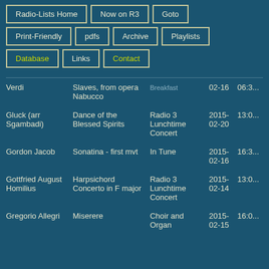Radio-Lists Home | Now on R3 | Goto | Print-Friendly | pdfs | Archive | Playlists | Database | Links | Contact
| Composer | Piece | Show | Date | Time |
| --- | --- | --- | --- | --- |
| Verdi | Slaves, from opera Nabucco | Breakfast | 02-16 | 06:3... |
| Gluck (arr Sgambadi) | Dance of the Blessed Spirits | Radio 3 Lunchtime Concert | 2015-02-20 | 13:0... |
| Gordon Jacob | Sonatina - first mvt | In Tune | 2015-02-16 | 16:3... |
| Gottfried August Homilius | Harpsichord Concerto in F major | Radio 3 Lunchtime Concert | 2015-02-14 | 13:0... |
| Gregorio Allegri | Miserere | Choir and Organ | 2015-02-15 | 16:0... |